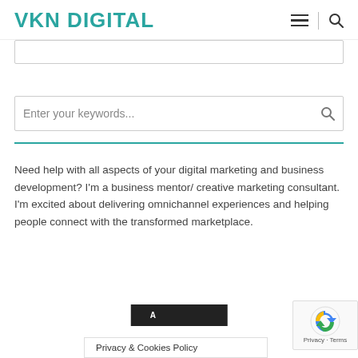VKN DIGITAL
[Figure (screenshot): Search input bar at top (partially visible)]
[Figure (screenshot): Search input with placeholder 'Enter your keywords...' and search icon]
Need help with all aspects of your digital marketing and business development? I'm a business mentor/ creative marketing consultant. I'm excited about delivering omnichannel experiences and helping people connect with the transformed marketplace.
[Figure (screenshot): CTA button with partial text visible]
Privacy & Cookies Policy